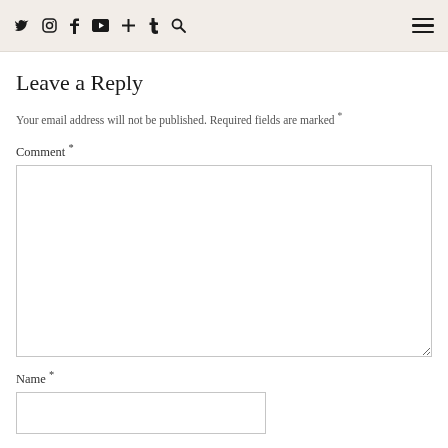social icons: twitter, instagram, facebook, youtube, plus, tumblr, search | hamburger menu
Leave a Reply
Your email address will not be published. Required fields are marked *
Comment *
[Figure (screenshot): Empty comment textarea input box]
Name *
[Figure (screenshot): Empty name text input box]